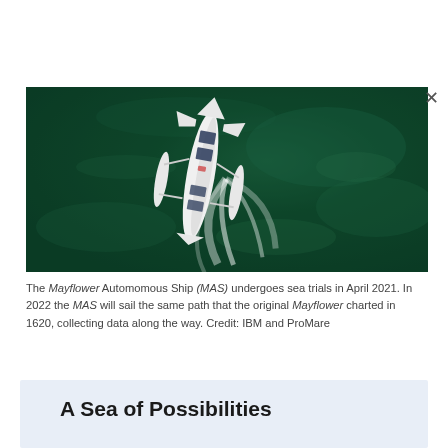[Figure (photo): Aerial view of the Mayflower Autonomous Ship (MAS) sailing on dark green water, photographed from above. The white trimaran vessel is seen from a bird's-eye perspective cutting through the water, leaving a wake behind it.]
The Mayflower Automomous Ship (MAS) undergoes sea trials in April 2021. In 2022 the MAS will sail the same path that the original Mayflower charted in 1620, collecting data along the way. Credit: IBM and ProMare
A Sea of Possibilities